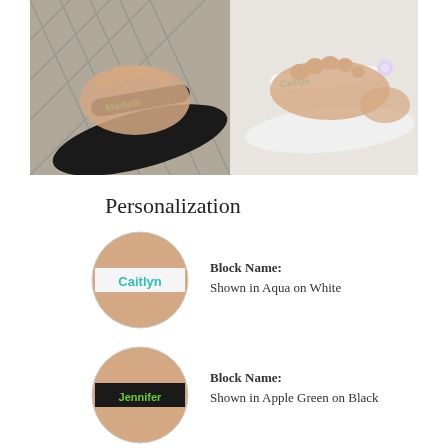[Figure (photo): Photo of two pairs of personalized flip-flop sandals. One pair is black with green text reading 'Michele', the other is white with aqua text reading 'Caitlyn'. Feet are wearing the sandals, resting on a white surface with a lattice background.]
Personalization
[Figure (illustration): Circular close-up illustration of a white sandal strap with 'Caitlyn' written in aqua/teal block letters.]
Block Name:
Shown in Aqua on White
[Figure (illustration): Circular close-up illustration of a black sandal strap with 'Jennifer' written in apple green block letters.]
Block Name:
Shown in Apple Green on Black